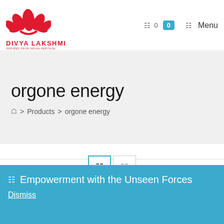[Figure (logo): Divya Lakshmi red lotus flower logo with brand name text]
0  Menu
orgone energy
🏠 > Products > orgone energy
[Figure (other): View toggle buttons - grid view and list view icons]
🔔 Empowerment with the Unseen Forces
Dismiss